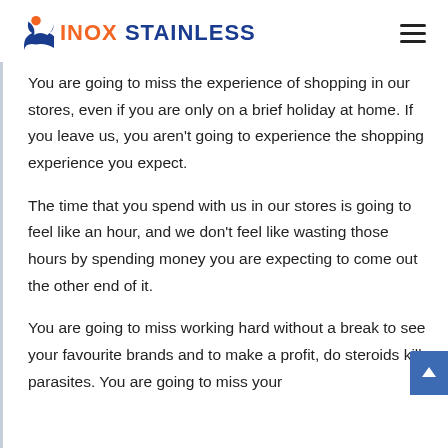INOX STAINLESS
You are going to miss the experience of shopping in our stores, even if you are only on a brief holiday at home. If you leave us, you aren't going to experience the shopping experience you expect.
The time that you spend with us in our stores is going to feel like an hour, and we don't feel like wasting those hours by spending money you are expecting to come out the other end of it.
You are going to miss working hard without a break to see your favourite brands and to make a profit, do steroids kill parasites. You are going to miss your